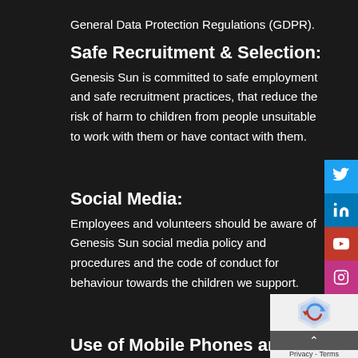General Data Protection Regulations (GDPR).
Safe Recruitment & Selection:
Genesis Sun is committed to safe employment and safe recruitment practices, that reduce the risk of harm to children from people unsuitable to work with them or have contact with them.
Social Media:
Employees and volunteers should be aware of Genesis Sun social media policy and procedures and the code of conduct for behaviour towards the children we support.
Use of Mobile Phones and other Digital Technology:
All employees, board members and volunteers should